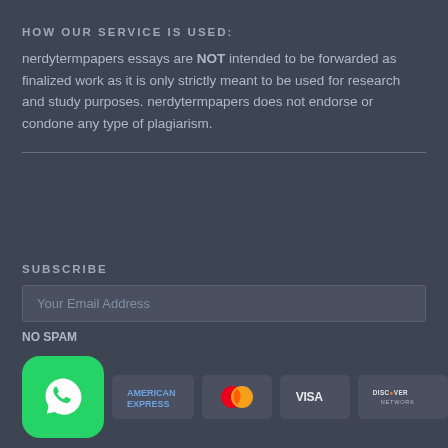HOW OUR SERVICE IS USED:
nerdytermpapers essays are NOT intended to be forwarded as finalized work as it is only strictly meant to be used for research and study purposes. nerdytermpapers does not endorse or condone any type of plagiarism.
SUBSCRIBE
Your Email Address
NO SPAM
[Figure (logo): Payment logos: WhatsApp icon, American Express, Mastercard, Visa, Discover Network]